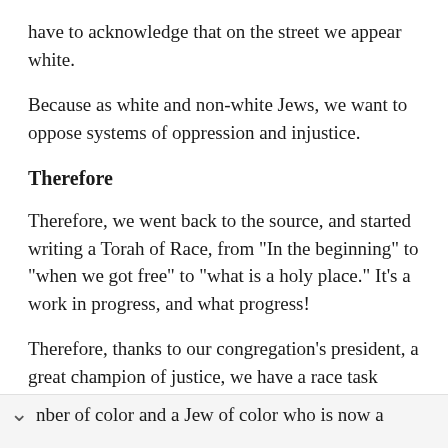have to acknowledge that on the street we appear white.
Because as white and non-white Jews, we want to oppose systems of oppression and injustice.
Therefore
Therefore, we went back to the source, and started writing a Torah of Race, from "In the beginning" to "when we got free" to "what is a holy place." It's a work in progress, and what progress!
Therefore, thanks to our congregation's president, a great champion of justice, we have a race task force of white people and people of color and a board mber of color and a Jew of color who is now a